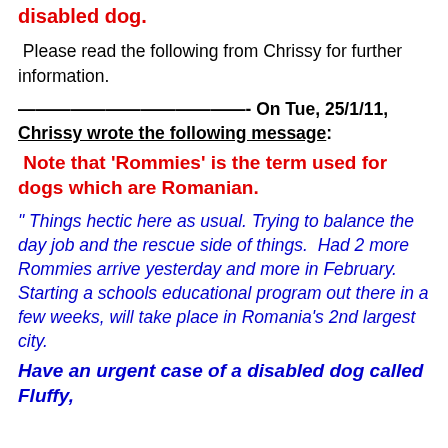disabled dog.
Please read the following from Chrissy for further information.
——————————- On Tue, 25/1/11, Chrissy wrote the following message:
Note that 'Rommies' is the term used for dogs which are Romanian.
" Things hectic here as usual. Trying to balance the day job and the rescue side of things.  Had 2 more Rommies arrive yesterday and more in February.  Starting a schools educational program out there in a few weeks, will take place in Romania's 2nd largest city.
Have an urgent case of a disabled dog called Fluffy,